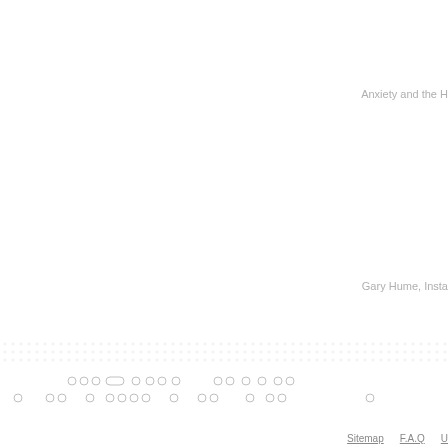Anxiety and the H
Gary Hume, Insta
[Figure (other): Decorative dotted pattern rows at the bottom of the page, resembling navigation dots or a decorative footer element]
Sitemap   F.A.Q   U